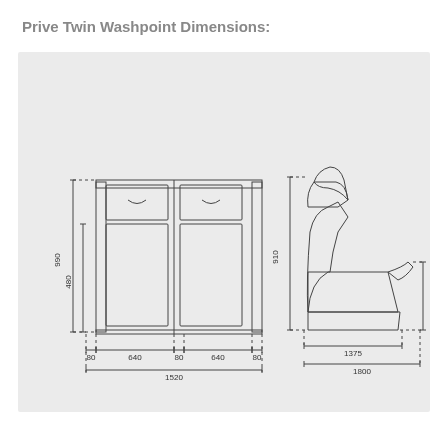Prive Twin Washpoint Dimensions:
[Figure (engineering-diagram): Technical engineering drawing of Prive Twin Washpoint showing front elevation (left) with dimensions: width 1520mm total (80+640+80+640+80), heights 990mm total and 480mm internal; and side elevation (right) with dimensions: height 910mm, depth 500mm, lengths 1375mm and 1800mm.]